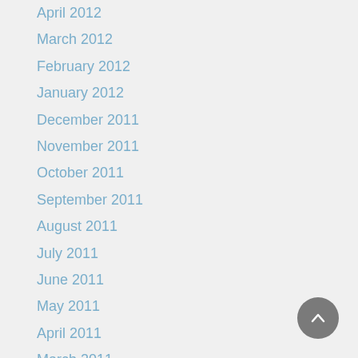April 2012
March 2012
February 2012
January 2012
December 2011
November 2011
October 2011
September 2011
August 2011
July 2011
June 2011
May 2011
April 2011
March 2011
February 2011
January 2011
December 2010
November 2010
October 2010
September 2010